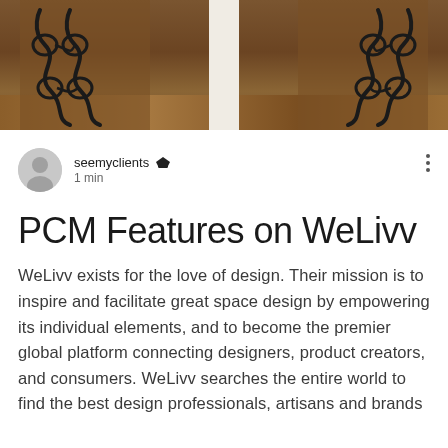[Figure (photo): Interior photo of a staircase with ornate black wrought-iron railings featuring scrollwork, white newel posts, and dark hardwood flooring visible in the background.]
seemyclients 👑
1 min
PCM Features on WeLivv
WeLivv exists for the love of design. Their mission is to inspire and facilitate great space design by empowering its individual elements, and to become the premier global platform connecting designers, product creators, and consumers. WeLivv searches the entire world to find the best design professionals, artisans and brands